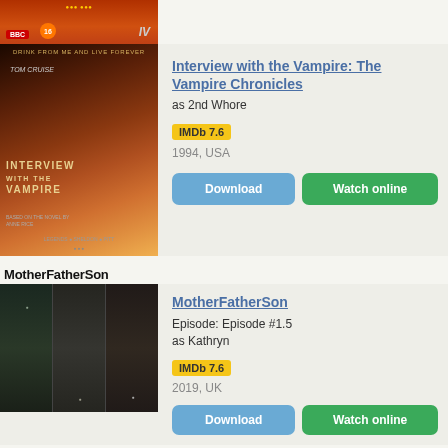[Figure (photo): Partial top movie poster with BBC logo, rating badge 16, and Channel 4 IV logo]
[Figure (photo): Interview with the Vampire movie poster with Tom Cruise, orange-red tones, tagline 'Drink from me and live forever']
Interview with the Vampire: The Vampire Chronicles
as 2nd Whore
IMDb 7.6
1994, USA
Download
Watch online
MotherFatherSon
[Figure (photo): MotherFatherSon TV show poster with three faces side by side]
MotherFatherSon
Episode: Episode #1.5
as Kathryn
IMDb 7.6
2019, UK
Download
Watch online